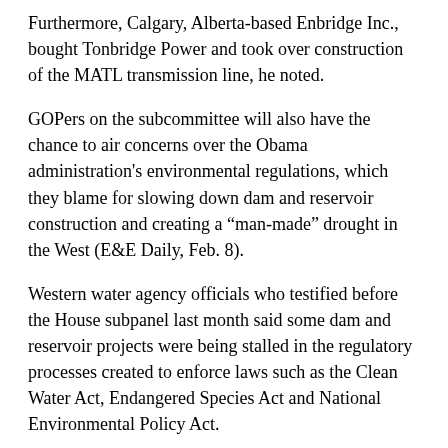Furthermore, Calgary, Alberta-based Enbridge Inc., bought Tonbridge Power and took over construction of the MATL transmission line, he noted.
GOPers on the subcommittee will also have the chance to air concerns over the Obama administration's environmental regulations, which they blame for slowing down dam and reservoir construction and creating a “man-made” drought in the West (E&E Daily, Feb. 8).
Western water agency officials who testified before the House subpanel last month said some dam and reservoir projects were being stalled in the regulatory processes created to enforce laws such as the Clean Water Act, Endangered Species Act and National Environmental Policy Act.
Republicans at the time said the regulations seemed to present nearly insurmountable barriers to new dam construction, which drive up costs and scare off private investment.